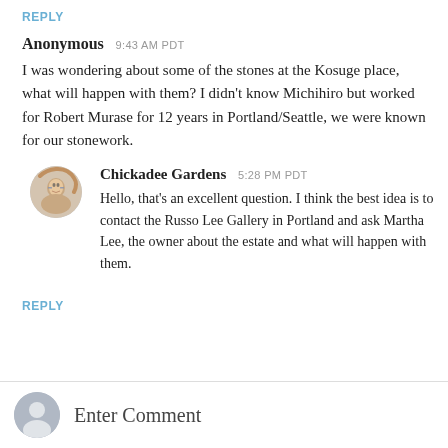REPLY
Anonymous  9:43 AM PDT
I was wondering about some of the stones at the Kosuge place, what will happen with them? I didn't know Michihiro but worked for Robert Murase for 12 years in Portland/Seattle, we were known for our stonework.
Chickadee Gardens  5:28 PM PDT
Hello, that's an excellent question. I think the best idea is to contact the Russo Lee Gallery in Portland and ask Martha Lee, the owner about the estate and what will happen with them.
REPLY
Enter Comment